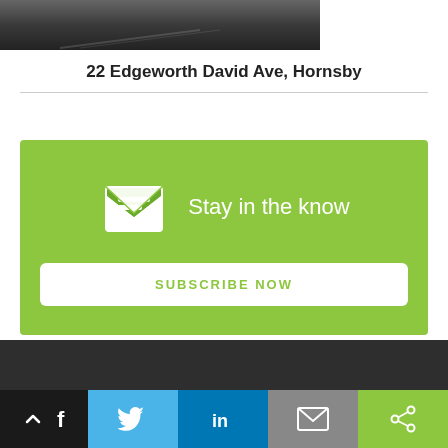[Figure (photo): Grayscale photo strip at the top of the page showing a road or landscape scene]
22 Edgeworth David Ave, Hornsby
[Figure (infographic): Green subscription banner with mail envelope icon and 'Stay in the know' heading, with a white 'SUBSCRIBE NOW' button]
[Figure (infographic): Dark footer bar with dot grid pattern]
[Figure (infographic): Social sharing bar at the bottom with up/back arrow, Facebook, Twitter, LinkedIn, email, and share icons]